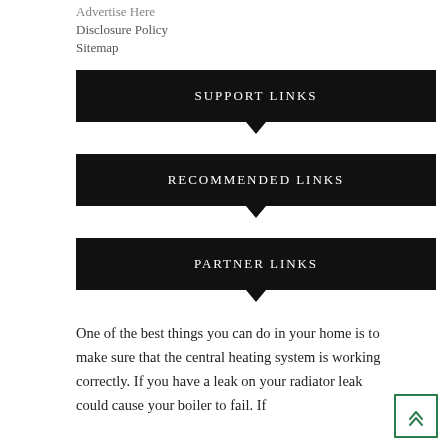Advertise Here
Disclosure Policy
Sitemap
SUPPORT LINKS
RECOMMENDED LINKS
PARTNER LINKS
One of the best things you can do in your home is to make sure that the central heating system is working correctly. If you have a leak on your radiator leak could cause your boiler to fail. If